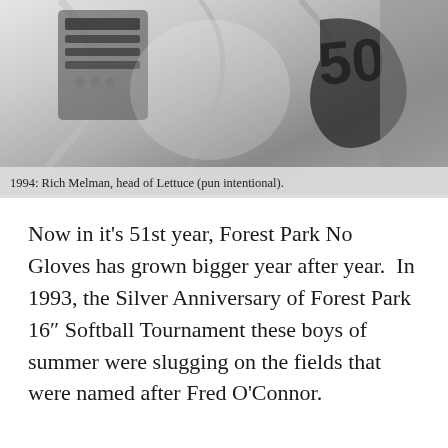[Figure (photo): Black and white close-up photograph of Rich Melman wearing a white t-shirt with graphics, taken in 1994.]
1994: Rich Melman, head of Lettuce (pun intentional).
Now in it’s 51st year, Forest Park No Gloves has grown bigger year after year.  In 1993, the Silver Anniversary of Forest Park 16″ Softball Tournament these boys of summer were slugging on the fields that were named after Fred O’Connor.